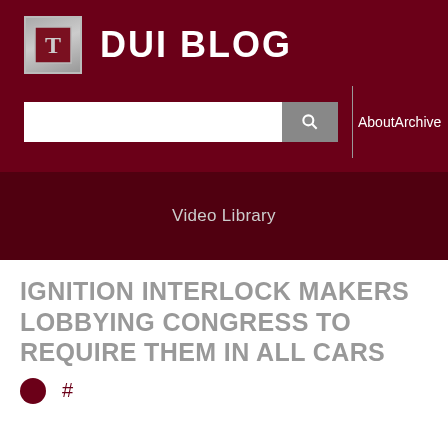DUI BLOG
About Archive
Video Library
IGNITION INTERLOCK MAKERS LOBBYING CONGRESS TO REQUIRE THEM IN ALL CARS